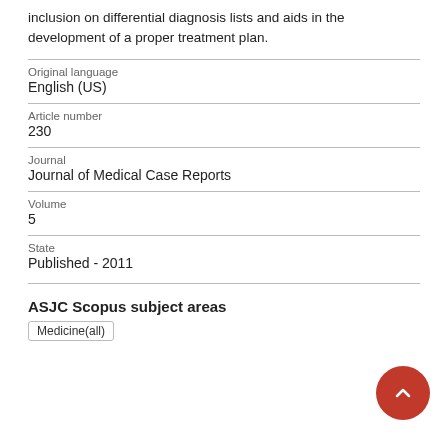inclusion on differential diagnosis lists and aids in the development of a proper treatment plan.
| Field | Value |
| --- | --- |
| Original language | English (US) |
| Article number | 230 |
| Journal | Journal of Medical Case Reports |
| Volume | 5 |
| State | Published - 2011 |
ASJC Scopus subject areas
Medicine(all)